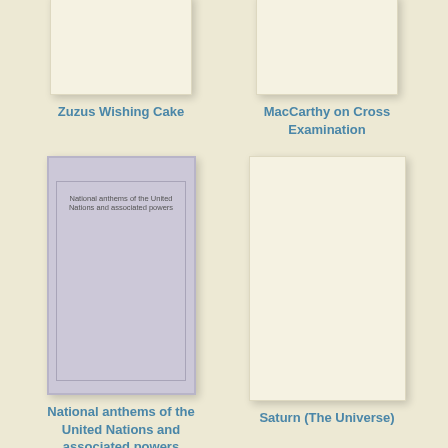[Figure (illustration): Book cover thumbnail for Zuzus Wishing Cake, partially cropped at top]
Zuzus Wishing Cake
[Figure (illustration): Book cover thumbnail for MacCarthy on Cross Examination, partially cropped at top]
MacCarthy on Cross Examination
[Figure (illustration): Book cover for National anthems of the United Nations and associated powers, gray cover with inner border and title text]
National anthems of the United Nations and associated powers
[Figure (illustration): Book cover thumbnail for Saturn (The Universe), plain light cover]
Saturn (The Universe)
[Figure (illustration): Book cover thumbnail for Printing ink, gray cover, partially cropped at bottom]
[Figure (illustration): Book cover thumbnail, plain light cover, partially cropped at bottom]